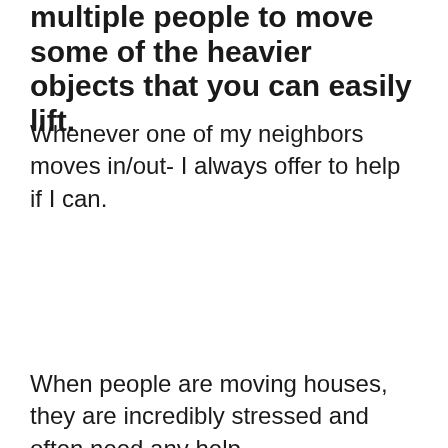multiple people to move some of the heavier objects that you can easily lift.
Whenever one of my neighbors moves in/out- I always offer to help if I can.
When people are moving houses, they are incredibly stressed and often need any help